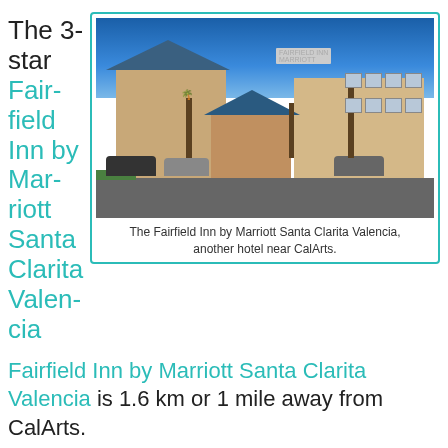The 3-star Fairfield Inn by Marriott Santa Clarita Valencia is 1.6 km or 1 mile away from CalArt.
[Figure (photo): Photo of the Fairfield Inn by Marriott Santa Clarita Valencia hotel exterior, showing a multi-story building with blue roof, palm trees, and parking lot]
The Fairfield Inn by Marriott Santa Clarita Valencia, another hotel near CalArts.
The rooms sleep up to two, four, or five people